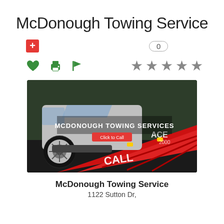McDonough Towing Service
[Figure (screenshot): Business listing UI: plus button (red), zero badge, heart/print/flag icons (green), five star rating (gray), photo of tow truck loading a silver SUV with text MCDONOUGH TOWING SERVICES and CALL overlaid]
McDonough Towing Service
1122 Sutton Dr,